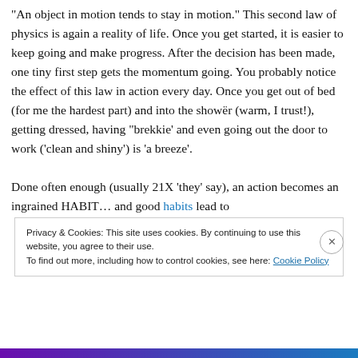"An object in motion tends to stay in motion." This second law of physics is again a reality of life. Once you get started, it is easier to keep going and make progress. After the decision has been made, one tiny first step gets the momentum going. You probably notice the effect of this law in action every day. Once you get out of bed (for me the hardest part) and into the showër (warm, I trust!), getting dressed, having "brekkie' and even going out the door to work ('clean and shiny') is 'a breeze'. Done often enough (usually 21X 'they' say), an action becomes an ingrained HABIT… and good habits lead to
Privacy & Cookies: This site uses cookies. By continuing to use this website, you agree to their use. To find out more, including how to control cookies, see here: Cookie Policy
Close and accept